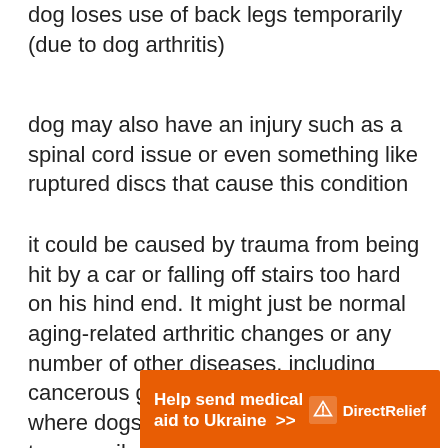dog loses use of back legs temporarily (due to dog arthritis)
dog may also have an injury such as a spinal cord issue or even something like ruptured discs that cause this condition
it could be caused by trauma from being hit by a car or falling off stairs too hard on his hind end. It might just be normal aging-related arthritic changes or any number of other diseases, including cancerous growths around those areas where dogs lost the use of back legs temporarily.
[Figure (other): Orange advertisement banner reading 'Help send medical aid to Ukraine >>' with Direct Relief logo on the right]